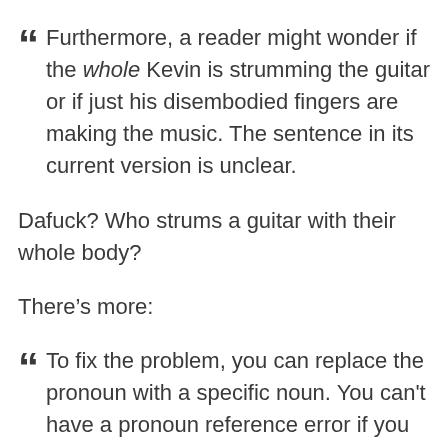Furthermore, a reader might wonder if the whole Kevin is strumming the guitar or if just his disembodied fingers are making the music. The sentence in its current version is unclear.
Dafuck? Who strums a guitar with their whole body?
There’s more:
To fix the problem, you can replace the pronoun with a specific noun. You can’t have a pronoun reference error if you have no pronoun!
Kevin’s fingers were strumming the